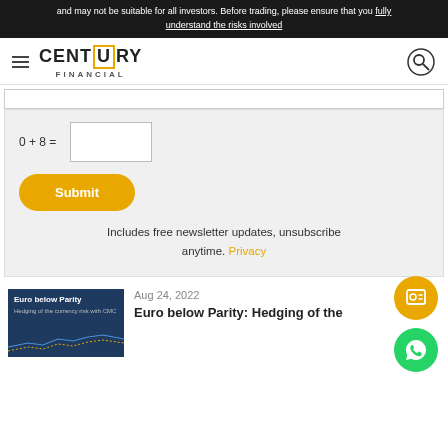and may not be suitable for all investors. Before trading, please ensure that you fully understand the risks involved
[Figure (logo): Century Financial logo with hamburger menu and search icon]
0 + 8 =
Submit
Includes free newsletter updates, unsubscribe anytime. Privacy
Aug 24, 2022
Euro below Parity: Hedging of the